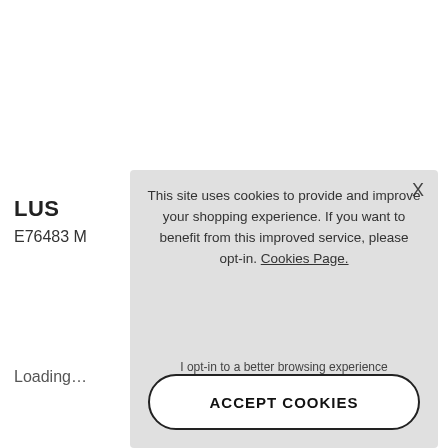LUS
E76483 M
Loading...
[Figure (screenshot): Cookie consent modal dialog overlay on a website. Contains text about cookies, a 'Cookies Page.' link, an opt-in line, an ACCEPT COOKIES button, and a close X button. Background shows partial page title 'LUS', product code 'E76483 M', and 'Loading...' text.]